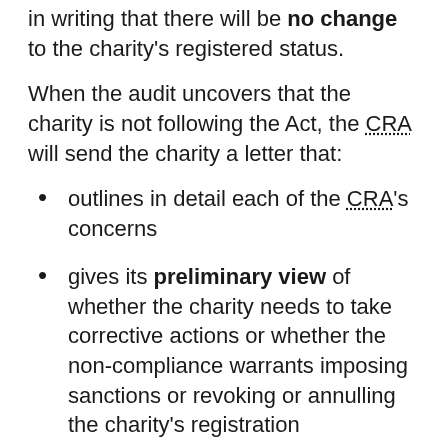in writing that there will be no change to the charity's registered status.
When the audit uncovers that the charity is not following the Act, the CRA will send the charity a letter that:
outlines in detail each of the CRA's concerns
gives its preliminary view of whether the charity needs to take corrective actions or whether the non-compliance warrants imposing sanctions or revoking or annulling the charity's registration